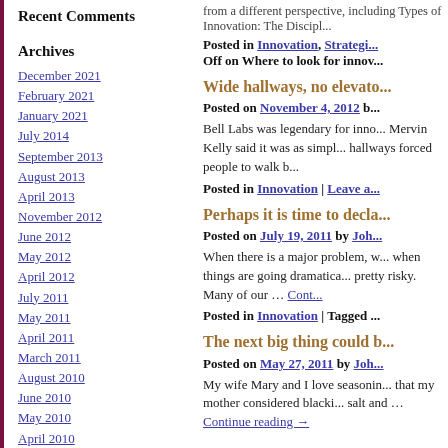Recent Comments
Archives
December 2021
February 2021
January 2021
July 2014
September 2013
August 2013
April 2013
November 2012
June 2012
May 2012
April 2012
July 2011
May 2011
April 2011
March 2011
August 2010
June 2010
May 2010
April 2010
March 2010
from a different perspective, including Types of Innovation: The Discipl...
Posted in Innovation, Strategic... Off on Where to look for innov...
Wide hallways, no elevato...
Posted on November 4, 2012 b...
Bell Labs was legendary for inno... Mervin Kelly said it was as simpl... hallways forced people to walk b...
Posted in Innovation | Leave a...
Perhaps it is time to decla...
Posted on July 19, 2011 by Joh...
When there is a major problem, w... when things are going dramatica... pretty risky. Many of our … Cont...
Posted in Innovation | Tagged ...
The next big thing could b...
Posted on May 27, 2011 by Joh...
My wife Mary and I love seasonin... that my mother considered blacki... salt and … Continue reading →